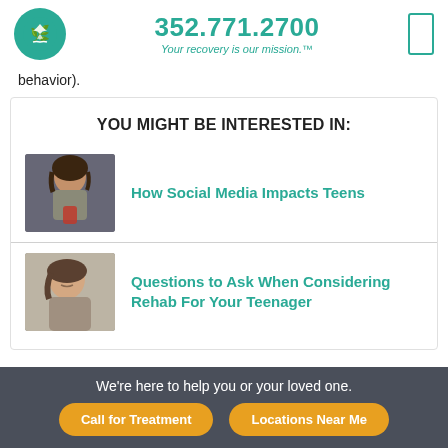352.771.2700 — Your recovery is our mission.™
behavior).
YOU MIGHT BE INTERESTED IN:
[Figure (photo): Teen girl looking down at a red smartphone, dark background]
How Social Media Impacts Teens
[Figure (photo): Close-up of a person appearing distressed or contemplative]
Questions to Ask When Considering Rehab For Your Teenager
We're here to help you or your loved one. Call for Treatment | Locations Near Me